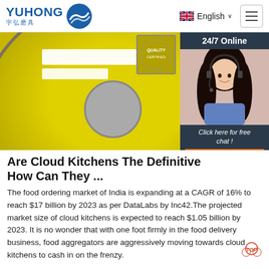YUHONG 宇弘磨具 — English navigation header
[Figure (photo): Yellow abrasive grinding wheel product photo with white label areas and quality badge, with a 24/7 online customer service panel overlay on the right showing a female agent with headset, a 'Click here for free chat!' prompt, and an orange QUOTATION button]
Are Cloud Kitchens The Definitive How Can They ...
The food ordering market of India is expanding at a CAGR of 16% to reach $17 billion by 2023 as per DataLabs by Inc42.The projected market size of cloud kitchens is expected to reach $1.05 billion by 2023. It is no wonder that with one foot firmly in the food delivery business, food aggregators are aggressively moving towards cloud kitchens to cash in on the frenzy.